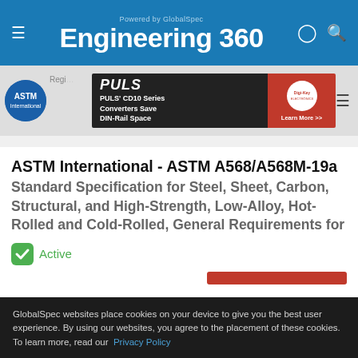Engineering 360 — Powered by GlobalSpec
[Figure (screenshot): PULS CD10 Series Converters Save DIN-Rail Space advertisement banner with Digi-Key logo]
ASTM International - ASTM A568/A568M-19a
Standard Specification for Steel, Sheet, Carbon, Structural, and High-Strength, Low-Alloy, Hot-Rolled and Cold-Rolled, General Requirements for
Active
GlobalSpec websites place cookies on your device to give you the best user experience. By using our websites, you agree to the placement of these cookies. To learn more, read our Privacy Policy